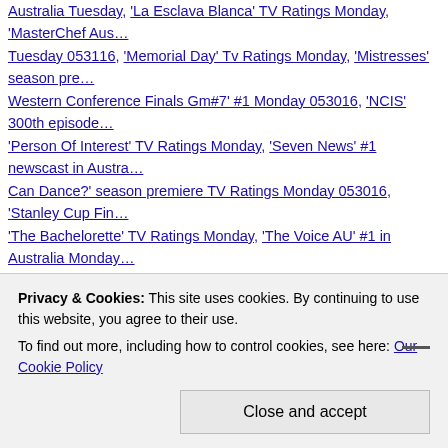Australia Tuesday, 'La Esclava Blanca' TV Ratings Monday, 'MasterChef Australia' Tuesday 053116, 'Memorial Day' Tv Ratings Monday, 'Mistresses' season premiere Western Conference Finals Gm#7' #1 Monday 053016, 'NCIS' 300th episode 'Person Of Interest' TV Ratings Monday, 'Seven News' #1 newscast in Australia Can Dance?' season premiere TV Ratings Monday 053016, 'Stanley Cup Finals 'The Bachelorette' TV Ratings Monday, 'The Voice AU' #1 in Australia Monday Monday, 'Yago' TV ratings Monday, 20 to One TV Ratings in Australia Tuesday Current Affair TV Ratings in Australia Tuesday, ABC TV Ratings in Australia Retention Remains A Struggle in 2016, BBC One TV Ratings in the UK Monday Monday, CBS TV Ratings Monday, Channel 4 TV Ratings in the UK Monday, FOX TV Ratings Monday, Golden State Warriors TV Ratings Monday, Home ITV #1 in the UK Monday 053016, ITV TV Ratings Monday in the UK, la Trail NBC TV Ratings Monday, Nine #1 in Australia Monday 053016, Nine News # Nine TV Ratings in Australia Monday, Oklahoma City Thunder Tv Ratings Monday Monday, San Jose Sharks TV Ratings Monday, SBS TV Ratings in Australia Seven #1 in Australia Tuesday 053116, Seven TV Ratings in Australia Monday Ratings in Australia Monday, The Chase Australia TV Ratings in Australia Tuesday Monday 052016, Univision TV Ratings Monday | Leave a comment
Privacy & Cookies: This site uses cookies. By continuing to use this website, you agree to their use. To find out more, including how to control cookies, see here: Our Cookie Policy